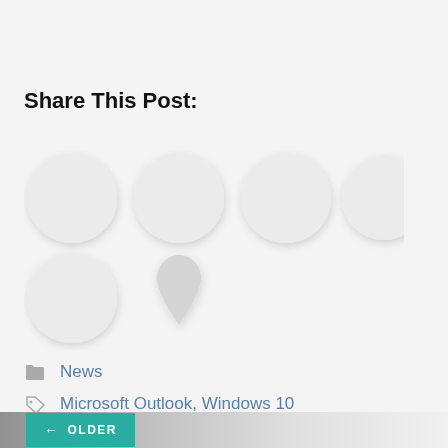Share This Post:
[Figure (illustration): Six social share button icons: four large circles in a row and two smaller shapes below (one circle, one pin/bookmark shape), all light gray placeholder style]
News
Microsoft Outlook, Windows 10
← OLDER